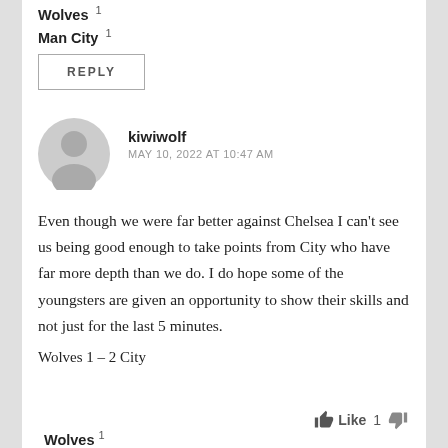Wolves 1
Man City 1
REPLY
kiwiwolf
MAY 10, 2022 AT 10:47 AM
Even though we were far better against Chelsea I can't see us being good enough to take points from City who have far more depth than we do. I do hope some of the youngsters are given an opportunity to show their skills and not just for the last 5 minutes.
Wolves 1 – 2 City
Like 1
Wolves 1